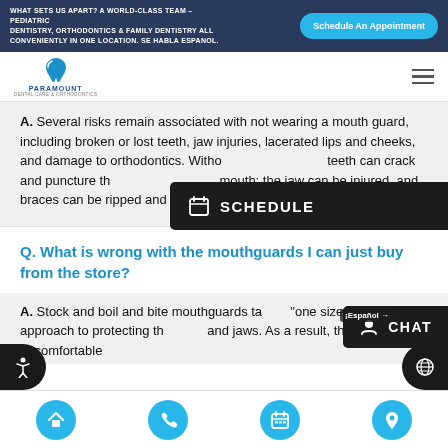WHAT SETS US APART? A WORLD-CLASS TEAM – PEDIATRIC DENTISTRY, ORTHODONTICS & FAMILY DENTISTRY ALL CONVENIENTLY IN ONE LOCATION. SE HABLA ESPANOL.
[Figure (logo): Paramount Dental Care & Orthodontics logo with tooth icon]
A. Several risks remain associated with not wearing a mouth guard, including broken or lost teeth, jaw injuries, lacerated lips and cheeks, and damage to orthodontics. Without a mouth guard, teeth can crack and puncture the soft tissue of the mouth; the jaw can be injured, and braces can be ripped and broken.
[Figure (screenshot): Dark overlay SCHEDULE button with calendar icon]
Q. What is wrong with the mouthguards I can just buy from the store?
A. Stock and boil and bite mouthguards take a "one size fits all" approach to protecting the teeth and jaws. As a result, they remain uncomfortable
[Figure (screenshot): Dark overlay CHAT button with person icon]
[Figure (infographic): Bottom navigation bar with home, phone, calendar, and location icons in blue circles]